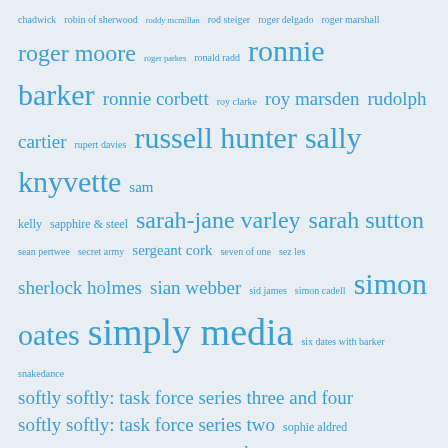[Figure (other): Tag cloud of names and terms related to British TV, all rendered in blue text on a light grey-blue background. Terms vary in font size indicating frequency/popularity. Terms include: chadwick, robin of sherwood, roddy mcmillan, rod steiger, roger delgado, roger marshall, roger moore, roger parkes, ronald radd, ronnie barker, ronnie corbett, roy clarke, roy marsden, rudolph cartier, rupert davies, russell hunter, sally knyvette, sam kelly, sapphire & steel, sarah-jane varley, sarah sutton, sean pertwee, secret army, sergeant cork, seven of one, sez les, sherlock holmes, sian webber, sid james, simon cadell, simon oates, simply media, six dates with barker, snakedance, softly softly: task force series three and four, softly softly: task force series two, sophie aldred, special branch, spike milligan, star cops, star trek, stephanie turner, stephen greif, stephen pacey, stephen yardley, steptoe and son, stratford johns, stuart damon, survivors, susan gilmore, susannah harker, susan tebbs, sylvester mccoy, t.p. mckenna, target, target books, terence rigby, terrance dicks, terry gilliam, terry jones, terry nation, terry scott, tessa wyatt, the aztecs, the bill, the box of]